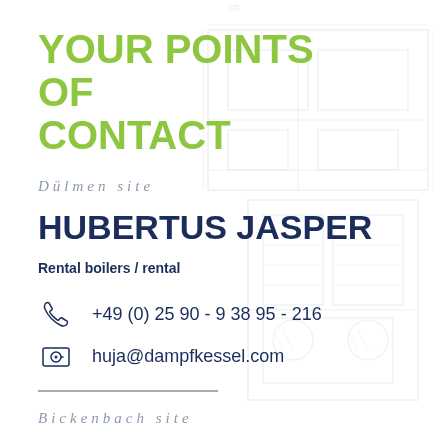YOUR POINTS OF CONTACT
Dülmen site
HUBERTUS JASPER
Rental boilers / rental
+49 (0) 25 90 - 9 38 95 - 216
huja@dampfkessel.com
Bickenbach site